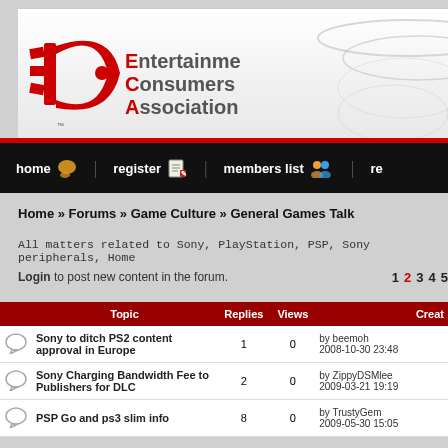[Figure (logo): Entertainment Consumers Association logo with red stylized ECA mark and text]
home | register | members list | re
Home » Forums » Game Culture » General Games Talk
All matters related to Sony, PlayStation, PSP, Sony peripherals, Home
Login to post new content in the forum.  1 2 3 4 5
| Topic | Replies | Views | Creat |
| --- | --- | --- | --- |
| Sony to ditch PS2 content approval in Europe | 1 | 0 | by beemoh 2008-10-30 23:48 |
| Sony Charging Bandwidth Fee to Publishers for DLC | 2 | 0 | by ZippyDSMlee 2009-03-21 19:19 |
| PSP Go and ps3 slim info | 8 | 0 | by TrustyGem 2009-05-30 15:05 |